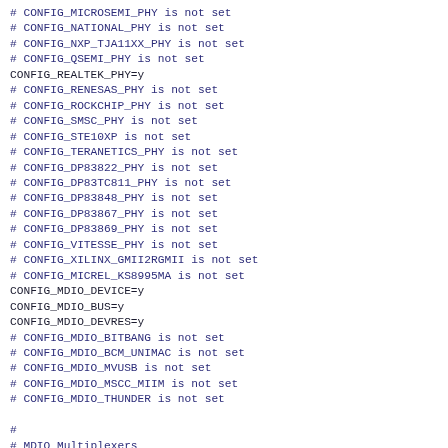# CONFIG_MICROSEMI_PHY is not set
# CONFIG_NATIONAL_PHY is not set
# CONFIG_NXP_TJA11XX_PHY is not set
# CONFIG_QSEMI_PHY is not set
CONFIG_REALTEK_PHY=y
# CONFIG_RENESAS_PHY is not set
# CONFIG_ROCKCHIP_PHY is not set
# CONFIG_SMSC_PHY is not set
# CONFIG_STE10XP is not set
# CONFIG_TERANETICS_PHY is not set
# CONFIG_DP83822_PHY is not set
# CONFIG_DP83TC811_PHY is not set
# CONFIG_DP83848_PHY is not set
# CONFIG_DP83867_PHY is not set
# CONFIG_DP83869_PHY is not set
# CONFIG_VITESSE_PHY is not set
# CONFIG_XILINX_GMII2RGMII is not set
# CONFIG_MICREL_KS8995MA is not set
CONFIG_MDIO_DEVICE=y
CONFIG_MDIO_BUS=y
CONFIG_MDIO_DEVRES=y
# CONFIG_MDIO_BITBANG is not set
# CONFIG_MDIO_BCM_UNIMAC is not set
# CONFIG_MDIO_MVUSB is not set
# CONFIG_MDIO_MSCC_MIIM is not set
# CONFIG_MDIO_THUNDER is not set
#
# MDIO Multiplexers
#